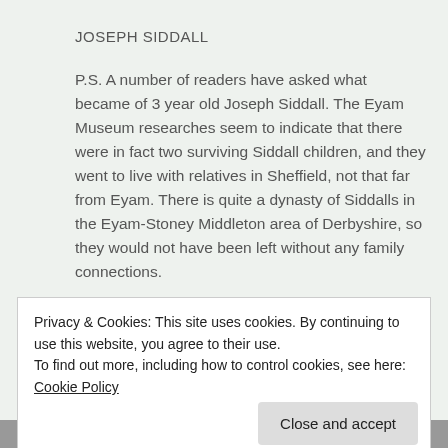JOSEPH SIDDALL
P.S. A number of readers have asked what became of 3 year old Joseph Siddall. The Eyam Museum researches seem to indicate that there were in fact two surviving Siddall children, and they went to live with relatives in Sheffield, not that far from Eyam. There is quite a dynasty of Siddalls in the Eyam-Stoney Middleton area of Derbyshire, so they would not have been left without any family connections.
Posted on April 10, 2017
Posted in history, photography
Tagged Black & White Sunday, Derbyshire, Eyam, Family History, Foxes of Callow, Plaque, wplongform 62 Comments
Privacy & Cookies: This site uses cookies. By continuing to use this website, you agree to their use.
To find out more, including how to control cookies, see here: Cookie Policy
Close and accept